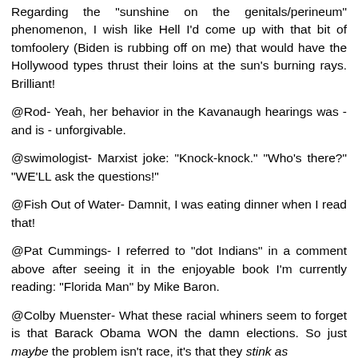Regarding the "sunshine on the genitals/perineum" phenomenon, I wish like Hell I'd come up with that bit of tomfoolery (Biden is rubbing off on me) that would have the Hollywood types thrust their loins at the sun's burning rays. Brilliant!
@Rod- Yeah, her behavior in the Kavanaugh hearings was - and is - unforgivable.
@swimologist- Marxist joke: "Knock-knock." "Who's there?" "WE'LL ask the questions!"
@Fish Out of Water- Damnit, I was eating dinner when I read that!
@Pat Cummings- I referred to "dot Indians" in a comment above after seeing it in the enjoyable book I'm currently reading: "Florida Man" by Mike Baron.
@Colby Muenster- What these racial whiners seem to forget is that Barack Obama WON the damn elections. So just maybe the problem isn't race, it's that they stink as candidates.